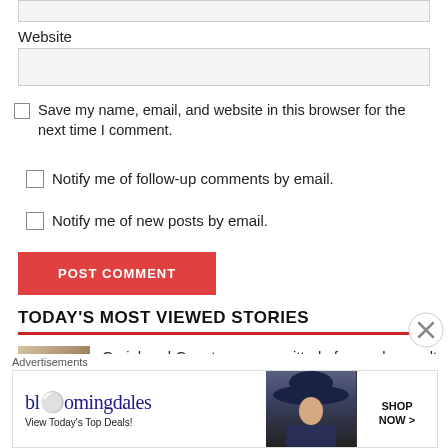Website
Save my name, email, and website in this browser for the next time I comment.
Notify me of follow-up comments by email.
Notify me of new posts by email.
POST COMMENT
TODAY'S MOST VIEWED STORIES
Craighead County man acquitted of sexual assault at jury trial
[Figure (photo): Thumbnail photo of a person or statue]
Advertisements
[Figure (other): Bloomingdale's advertisement banner with model in blue hat. Text: bloomingdales, View Today's Top Deals!, SHOP NOW >]